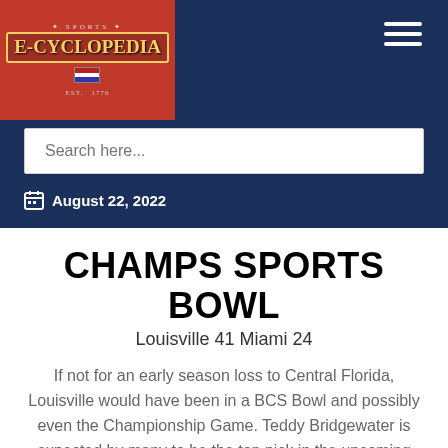[Figure (logo): Sports E-Cyclopedia logo — gold shield text on red background]
Search here...
August 22, 2022
CHAMPS SPORTS BOWL
Louisville 41 Miami 24
If not for an early season loss to Central Florida, Louisville would have been in a BCS Bowl and possibly even the Championship Game. Teddy Bridgewater is expected by many to be the top pick in the upcoming NFL draft and the best overall quarterback in the College Football. Here he gets a chance to shine and end his college career on a high note. The Hurricanes